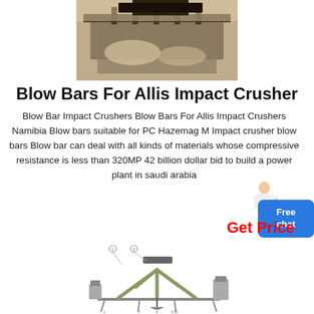[Figure (photo): Industrial crusher or conveyor machinery in operation, showing machinery processing bulk material.]
Blow Bars For Allis Impact Crusher
Blow Bar Impact Crushers Blow Bars For Allis Impact Crushers Namibia Blow bars suitable for PC Hazemag M Impact crusher blow bars Blow bar can deal with all kinds of materials whose compressive resistance is less than 320MP 42 billion dollar bid to build a power plant in saudi arabia
[Figure (illustration): Technical schematic/diagram of crusher or conveyor equipment with numbered parts and arm/beam assembly.]
Get Price